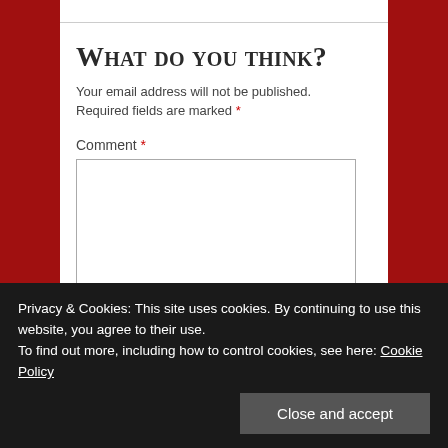What do you think?
Your email address will not be published. Required fields are marked *
Comment *
Privacy & Cookies: This site uses cookies. By continuing to use this website, you agree to their use. To find out more, including how to control cookies, see here: Cookie Policy
Close and accept